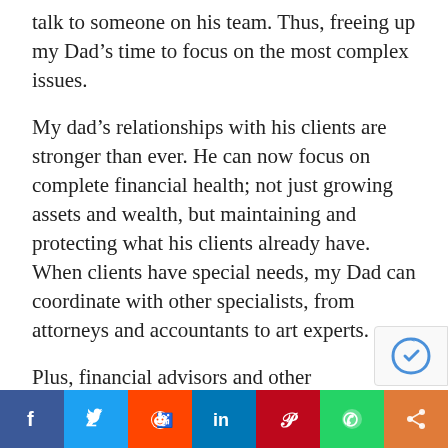talk to someone on his team. Thus, freeing up my Dad's time to focus on the most complex issues.
My dad's relationships with his clients are stronger than ever. He can now focus on complete financial health; not just growing assets and wealth, but maintaining and protecting what his clients already have. When clients have special needs, my Dad can coordinate with other specialists, from attorneys and accountants to art experts.
Plus, financial advisors and other entrepreneurs are free to innovate in whatever way will maximize value for the client. Individuals can now trade stocks on smart phones and people have access to a multitude of new financial tools.
[Figure (other): reCAPTCHA badge/widget in bottom-right corner]
[Figure (infographic): Social sharing bar with buttons: Facebook (blue), Twitter (light blue), Reddit (orange-red), LinkedIn (dark blue), Pinterest (red), WhatsApp (green), Share (orange)]